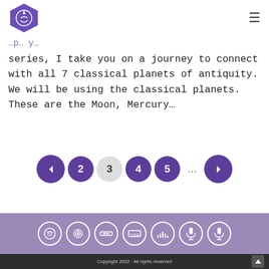[Logo] [Hamburger menu]
series, I take you on a journey to connect with all 7 classical planets of antiquity. We will be using the classical planets. These are the Moon, Mercury...
[Figure (other): Pagination controls: previous arrow (purple), page 2 (purple), page 3 (light gray/active), page 4 (purple), page 5 (purple), ellipsis, next arrow (purple)]
[Figure (other): Footer with 7 podcast/streaming platform icon circles (Spotify, Apple Podcasts, and others) on a medium purple background]
Copyright 2022 · All rights reserved